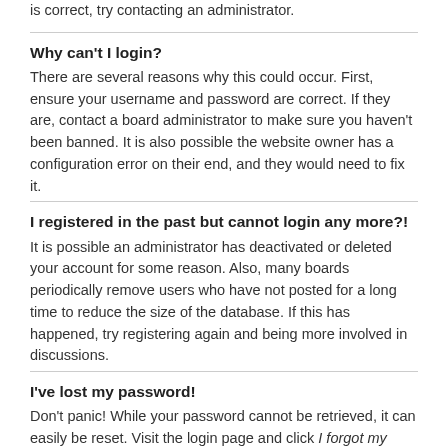is correct, try contacting an administrator.
Why can't I login?
There are several reasons why this could occur. First, ensure your username and password are correct. If they are, contact a board administrator to make sure you haven't been banned. It is also possible the website owner has a configuration error on their end, and they would need to fix it.
I registered in the past but cannot login any more?!
It is possible an administrator has deactivated or deleted your account for some reason. Also, many boards periodically remove users who have not posted for a long time to reduce the size of the database. If this has happened, try registering again and being more involved in discussions.
I've lost my password!
Don't panic! While your password cannot be retrieved, it can easily be reset. Visit the login page and click I forgot my password. Follow the instructions and you should be able to log in again shortly.